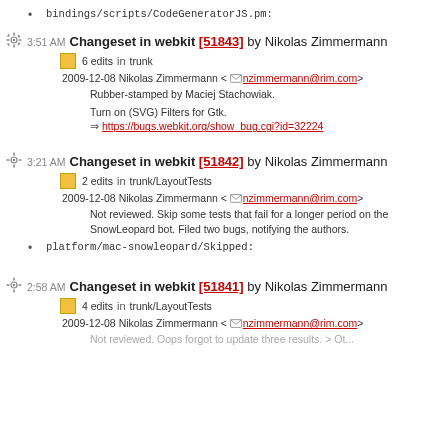bindings/scripts/CodeGeneratorJS.pm:
3:51 AM Changeset in webkit [51843] by Nikolas Zimmermann
6 edits in trunk
2009-12-08 Nikolas Zimmermann <nzimmermann@rim.com>
Rubber-stamped by Maciej Stachowiak.
Turn on (SVG) Filters for Gtk.
https://bugs.webkit.org/show_bug.cgi?id=32224
3:21 AM Changeset in webkit [51842] by Nikolas Zimmermann
2 edits in trunk/LayoutTests
2009-12-08 Nikolas Zimmermann <nzimmermann@rim.com>
Not reviewed. Skip some tests that fail for a longer period on the SnowLeopard bot. Filed two bugs, notifying the authors.
platform/mac-snowleopard/Skipped:
2:58 AM Changeset in webkit [51841] by Nikolas Zimmermann
4 edits in trunk/LayoutTests
2009-12-08 Nikolas Zimmermann <nzimmermann@rim.com>
Not reviewed. Oops forgot to update three results. > Ot...